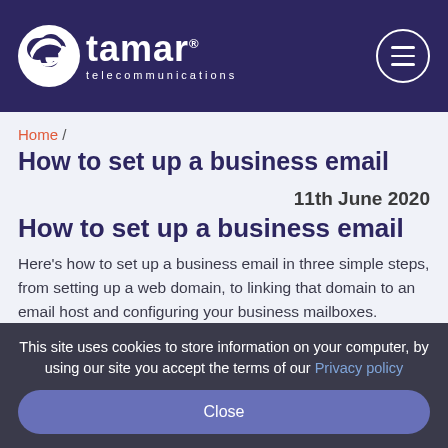tamar telecommunications
Home / How to set up a business email
How to set up a business email
11th June 2020
How to set up a business email
Here's how to set up a business email in three simple steps, from setting up a web domain, to linking that domain to an email host and configuring your business mailboxes.
This site uses cookies to store information on your computer, by using our site you accept the terms of our Privacy policy
Close